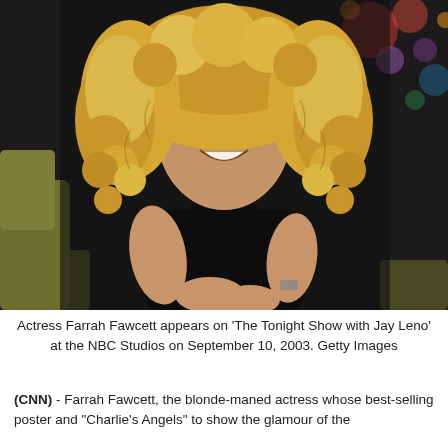[Figure (photo): Actress Farrah Fawcett sitting in a chair on a talk show set, wearing a black sleeveless turtleneck, with curly blonde hair, smiling and looking to her left. The background shows colorful studio lights.]
Actress Farrah Fawcett appears on 'The Tonight Show with Jay Leno' at the NBC Studios on September 10, 2003. Getty Images
(CNN) - Farrah Fawcett, the blonde-maned actress whose best-selling poster and "Charlie's Angels" to show the glamour of the...